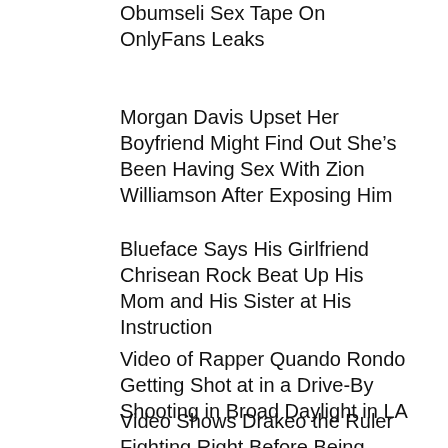Obumseli Sex Tape On OnlyFans Leaks
Morgan Davis Upset Her Boyfriend Might Find Out She’s Been Having Sex With Zion Williamson After Exposing Him
Blueface Says His Girlfriend Chrisean Rock Beat Up His Mom and His Sister at His Instruction
Video of Rapper Quando Rondo Getting Shot at in a Drive-By Shooting in Broad Daylight in LA
Video Shows Drakeo the Ruler Fighting Right Before Being Stabbed